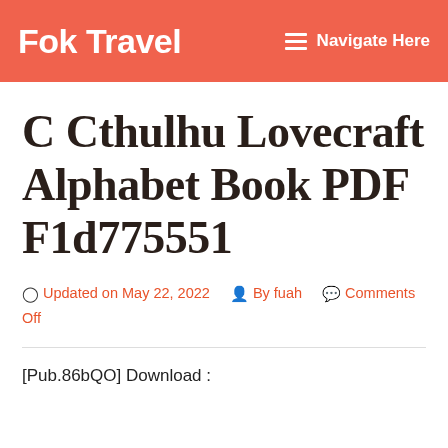Fok Travel   Navigate Here
C Cthulhu Lovecraft Alphabet Book PDF F1d775551
Updated on May 22, 2022   By fuah   Comments Off
[Pub.86bQO] Download :